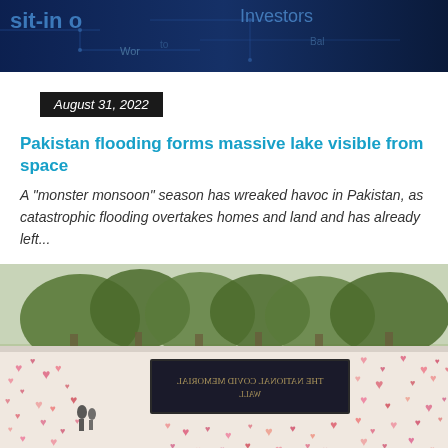[Figure (photo): Dark blue banner image with text 'sit-in' and 'Investors' visible, appears to be a news website header graphic]
August 31, 2022
Pakistan flooding forms massive lake visible from space
A “monster monsoon” season has wreaked havoc in Pakistan, as catastrophic flooding overtakes homes and land and has already left...
[Figure (photo): Photo of the National Covid Memorial Wall in London, a long white wall covered in pink and red painted hearts, with trees in the background and a dark plaque reading 'THE NATIONAL COVID MEMORIAL WALL']